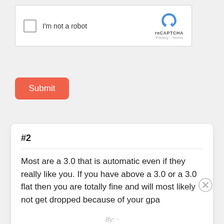[Figure (screenshot): reCAPTCHA widget with checkbox labeled 'I'm not a robot' and reCAPTCHA logo with Privacy and Terms text]
Submit
#2
Most are a 3.0 that is automatic even if they really like you. If you have above a 3.0 or a 3.0 flat then you are totally fine and will most likely not get dropped because of your gpa
By: -
December 11, 2019 4:39:37 PM
Comment | 8 | 5